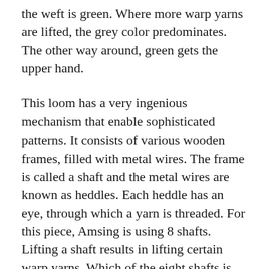the weft is green. Where more warp yarns are lifted, the grey color predominates. The other way around, green gets the upper hand.
This loom has a very ingenious mechanism that enable sophisticated patterns. It consists of various wooden frames, filled with metal wires. The frame is called a shaft and the metal wires are known as heddles. Each heddle has an eye, through which a yarn is threaded. For this piece, Amsing is using 8 shafts. Lifting a shaft results in lifting certain warp yarns. Which of the eight shafts is lifted, is determined by the so called dobby component: a large wooden chain, made of wooden bars, that hangs on the right side of the loom. Each bar has 16 holes, corresponding to the